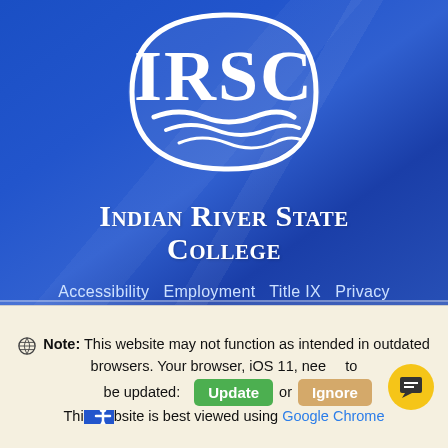[Figure (logo): IRSC circular oval logo with white lettering 'IRSC' and wave design on blue background]
Indian River State College
Accessibility   Employment   Title IX   Privacy
Disclaimers   Site Map
3209 Virginia Avenue Fort Pierce, FL 34981
Note: This website may not function as intended in outdated browsers. Your browser, iOS 11, needs to be updated: Update or Ignore
This website is best viewed using Google Chrome